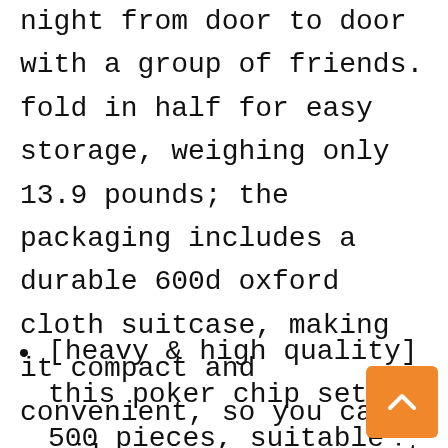night from door to door with a group of friends. fold in half for easy storage, weighing only 13.9 pounds; the packaging includes a durable 600d oxford cloth suitcase, making it compact and convenient, so you can easily carry or carry it when you are not using it.
[heavy & high quality] this poker chip set has 500 pieces, suitable for a poker game of 6-10 people, each piece weighs approximately 11.5 grams, with a diameter of 1.54. the